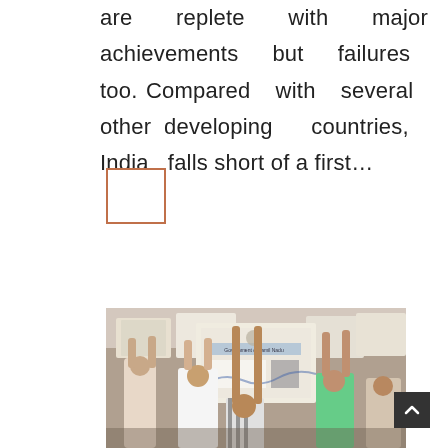are replete with major achievements but failures too. Compared with several other developing countries, India falls short of a first…
[Figure (other): Small empty box with rust/orange border, likely a thumbnail placeholder]
[Figure (photo): People carrying large cardboard boxes labeled Government of Tamil Nadu on their heads in a crowd]